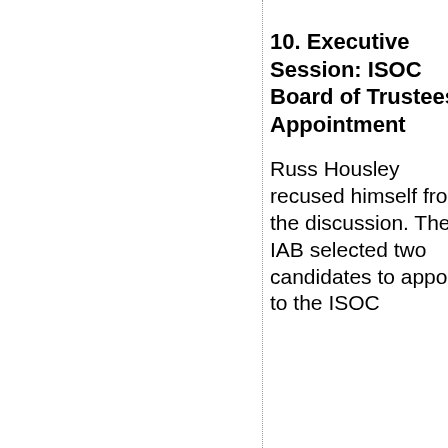10. Executive Session: ISOC Board of Trustees Appointment
Russ Housley recused himself from the discussion. The IAB selected two candidates to appoint to the ISOC